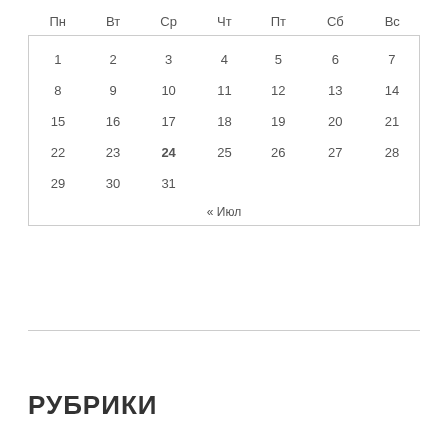| Пн | Вт | Ср | Чт | Пт | Сб | Вс |
| --- | --- | --- | --- | --- | --- | --- |
| 1 | 2 | 3 | 4 | 5 | 6 | 7 |
| 8 | 9 | 10 | 11 | 12 | 13 | 14 |
| 15 | 16 | 17 | 18 | 19 | 20 | 21 |
| 22 | 23 | 24 | 25 | 26 | 27 | 28 |
| 29 | 30 | 31 |  |  |  |  |
« Июл
РУБРИКИ